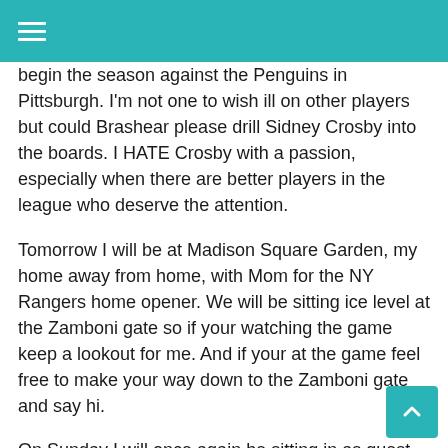≡
begin the season against the Penguins in Pittsburgh. I'm not one to wish ill on other players but could Brashear please drill Sidney Crosby into the boards. I HATE Crosby with a passion, especially when there are better players in the league who deserve the attention.
Tomorrow I will be at Madison Square Garden, my home away from home, with Mom for the NY Rangers home opener. We will be sitting ice level at the Zamboni gate so if your watching the game keep a lookout for me. And if your at the game feel free to make your way down to the Zamboni gate and say hi.
On Sunday I will once again be sitting in as guest host of The Scorpion's Lair from 3-5pm EST on Brooklyn College Radio. Jay Scorpion has put together another great playlist of music from bands you know and bands you should know. We know Sunday is football but the commentators suck so mute your TV and listen to The Scorpion's Lair, you won't regret it.